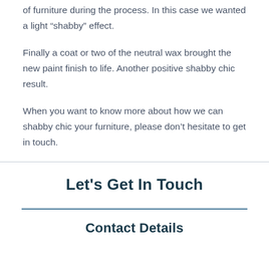of furniture during the process. In this case we wanted a light “shabby” effect.
Finally a coat or two of the neutral wax brought the new paint finish to life. Another positive shabby chic result.
When you want to know more about how we can shabby chic your furniture, please don’t hesitate to get in touch.
Let's Get In Touch
Contact Details